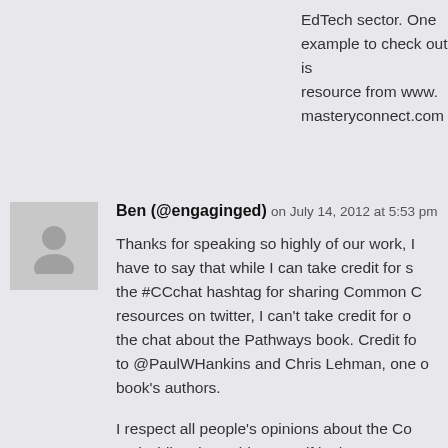EdTech sector. One example to check out is resource from www. masteryconnect.com
[Figure (photo): User avatar placeholder — grey silhouette of a person on light grey background]
Ben (@engaginged) on July 14, 2012 at 5:53 pm
Thanks for speaking so highly of our work, I have to say that while I can take credit for starting the #CCchat hashtag for sharing Common Core resources on twitter, I can't take credit for organizing the chat about the Pathways book. Credit for that goes to @PaulWHankins and Chris Lehman, one of the book's authors.
I respect all people's opinions about the Common Core and while I'd consider myself in the "pro Common Core" category, I do think it's critical that conversations...